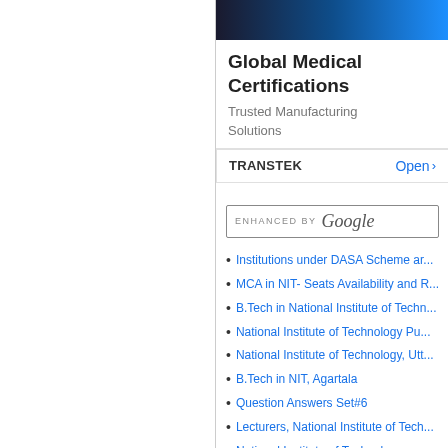[Figure (screenshot): Ad card showing 'Global Medical Certifications - Trusted Manufacturing Solutions' with TRANSTEK branding and Open button, alongside a search box enhanced by Google, and a list of educational links about NIT institutions]
Global Medical Certifications
Trusted Manufacturing Solutions
TRANSTEK   Open >
Institutions under DASA Scheme ar...
MCA in NIT- Seats Availability and R...
B.Tech in National Institute of Techn...
National Institute of Technology Pu...
National Institute of Technology, Utt...
B.Tech in NIT, Agartala
Question Answers Set#6
Lecturers, National Institute of Tech...
National Institute of Technology...